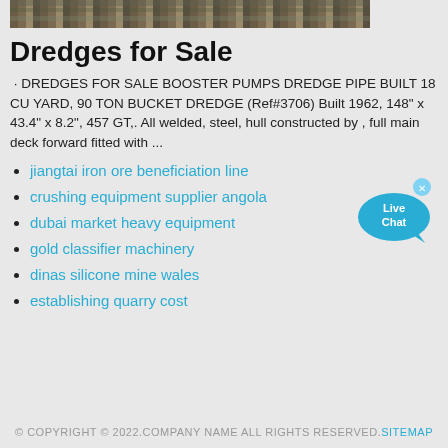[Figure (photo): Partial photo of dredge/mining equipment at top of page]
Dredges for Sale
· DREDGES FOR SALE BOOSTER PUMPS DREDGE PIPE BUILT 18 CU YARD, 90 TON BUCKET DREDGE (Ref#3706) Built 1962, 148" x 43.4" x 8.2", 457 GT,. All welded, steel, hull constructed by , full main deck forward fitted with ...
jiangtai iron ore beneficiation line
crushing equipment supplier angola
dubai market heavy equipment
gold classifier machinery
dinas silicone mine wales
establishing quarry cost
[Figure (illustration): Live Chat bubble widget in blue]
© COPYRIGHT © 2022.COMPANY NAME ALL RIGHTS RESERVED. SITEMAP